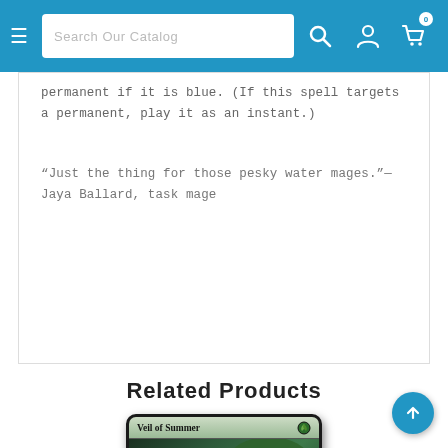Search Our Catalog
permanent if it is blue. (If this spell targets a permanent, play it as an instant.)
“Just the thing for those pesky water mages.”—Jaya Ballard, task mage
Related Products
[Figure (photo): Magic: The Gathering card - Veil of Summer, showing a figure surrounded by green leaves]